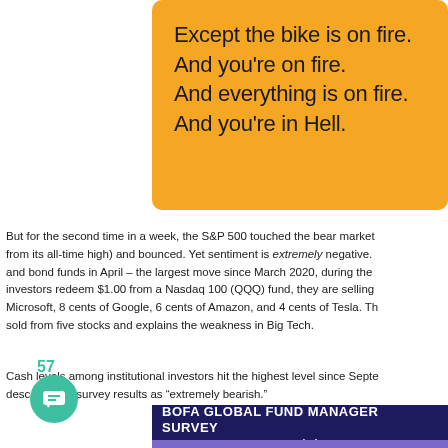[Figure (illustration): Orange card with text: 'Except the bike is on fire. And you're on fire. And everything is on fire. And you're in Hell.' with a partial illustration on the right side.]
But for the second time in a week, the S&P 500 touched the bear market threshold (down 20% from its all-time high) and bounced. Yet sentiment is extremely negative. Investors pulled $17.5B from stock and bond funds in April – the largest move since March 2020, during the pandemic. When investors redeem $1.00 from a Nasdaq 100 (QQQ) fund, they are selling 12 cents of Apple, 11 cents of Microsoft, 8 cents of Google, 6 cents of Amazon, and 4 cents of Tesla. That's 41 cents being sold from five stocks and explains the weakness in Big Tech.
Cash levels among institutional investors hit the highest level since September 2001. BofA describing its survey results as "extremely bearish."
[Figure (infographic): BofA Global Fund Manager Survey banner showing 'NET POSITIONING IN MAY (%)' with a purple bar chart below.]